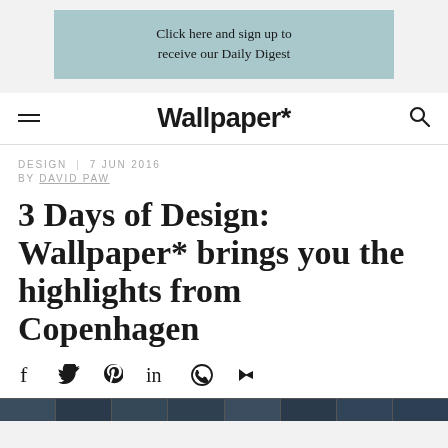[Figure (other): Advertisement banner: 'Click here and sign up to receive our Daily Digest' on teal/light blue background]
Wallpaper*
DESIGN | 7 JUN 2016
BY DAVID PAW
3 Days of Design: Wallpaper* brings you the highlights from Copenhagen
[Figure (other): Social sharing icons: Facebook, Twitter, Pinterest, LinkedIn, WhatsApp, Share]
[Figure (photo): Bottom image strip showing dark tiled/grid photos]